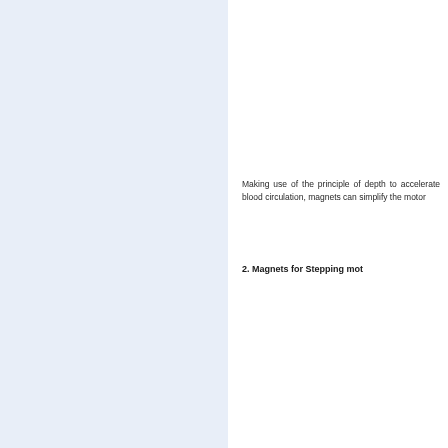Making use of the principle of depth to accelerate blood circulation, magnets can simplify the motor...
2. Magnets for Stepping mot...